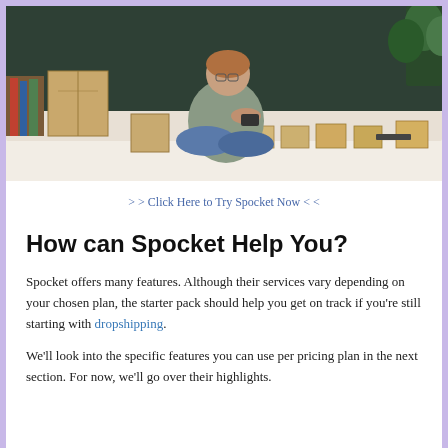[Figure (photo): Woman sitting cross-legged on a bed surrounded by cardboard boxes, looking at a tablet or phone, with a plant in the background on a dark green wall.]
> > Click Here to Try Spocket Now < <
How can Spocket Help You?
Spocket offers many features. Although their services vary depending on your chosen plan, the starter pack should help you get on track if you're still starting with dropshipping.
We'll look into the specific features you can use per pricing plan in the next section. For now, we'll go over their highlights.